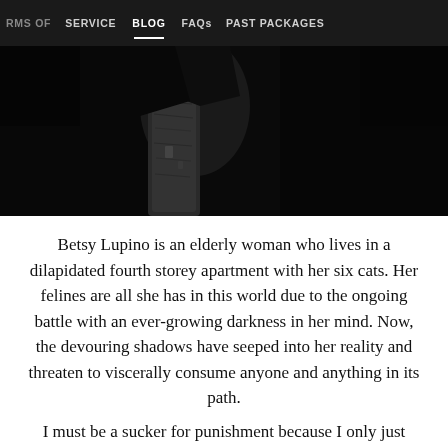RMS OF SERVICE   BLOG   FAQs   PAST PACKAGES
[Figure (photo): Dark black-and-white photograph showing a shadowy figure or object, dimly lit with high contrast]
Betsy Lupino is an elderly woman who lives in a dilapidated fourth storey apartment with her six cats. Her felines are all she has in this world due to the ongoing battle with an ever-growing darkness in her mind. Now, the devouring shadows have seeped into her reality and threaten to viscerally consume anyone and anything in its path.
I must be a sucker for punishment because I only just finished Criterium which was a gut wrenching emotional rollercoaster to then jump directly into